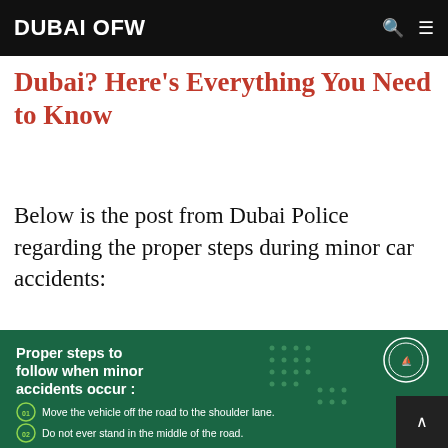DUBAI OFW
Dubai? Here’s Everything You Need to Know
Below is the post from Dubai Police regarding the proper steps during minor car accidents:
[Figure (infographic): Dubai Police infographic: Proper steps to follow when minor accidents occur. Step 01: Move the vehicle off the road to the shoulder lane. Step 02: Do not ever stand in the middle of the road. (Step 03 partially visible)]